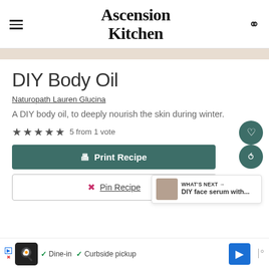Ascension Kitchen
DIY Body Oil
Naturopath Lauren Glucina
A DIY body oil, to deeply nourish the skin during winter.
5 from 1 vote
Print Recipe
Pin Recipe
WHAT'S NEXT → DIY face serum with...